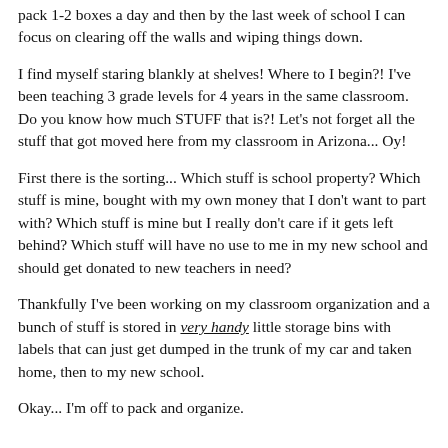pack 1-2 boxes a day and then by the last week of school I can focus on clearing off the walls and wiping things down.
I find myself staring blankly at shelves! Where to I begin?! I've been teaching 3 grade levels for 4 years in the same classroom. Do you know how much STUFF that is?! Let's not forget all the stuff that got moved here from my classroom in Arizona... Oy!
First there is the sorting... Which stuff is school property? Which stuff is mine, bought with my own money that I don't want to part with? Which stuff is mine but I really don't care if it gets left behind? Which stuff will have no use to me in my new school and should get donated to new teachers in need?
Thankfully I've been working on my classroom organization and a bunch of stuff is stored in very handy little storage bins with labels that can just get dumped in the trunk of my car and taken home, then to my new school.
Okay... I'm off to pack and organize.